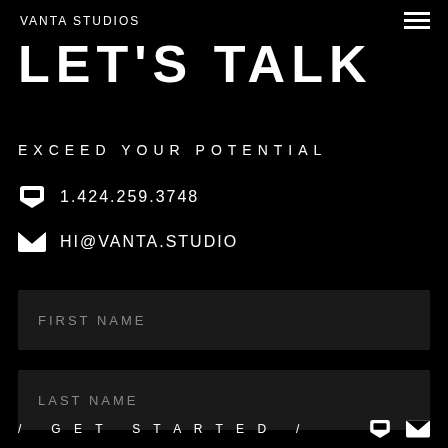VANTA STUDIOS
LET'S TALK
EXCEED YOUR POTENTIAL
1.424.259.3748
HI@VANTA.STUDIO
FIRST NAME
LAST NAME
/ GET STARTED /